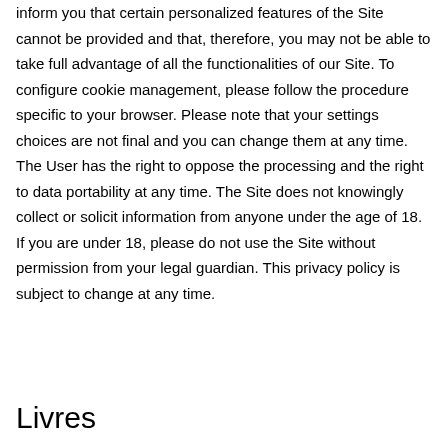inform you that certain personalized features of the Site cannot be provided and that, therefore, you may not be able to take full advantage of all the functionalities of our Site. To configure cookie management, please follow the procedure specific to your browser. Please note that your settings choices are not final and you can change them at any time. The User has the right to oppose the processing and the right to data portability at any time. The Site does not knowingly collect or solicit information from anyone under the age of 18. If you are under 18, please do not use the Site without permission from your legal guardian. This privacy policy is subject to change at any time.
Livres